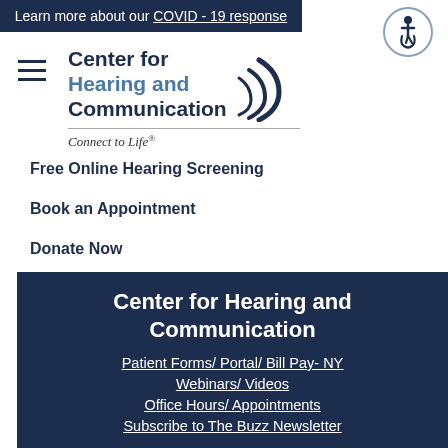Learn more about our COVID - 19 response
[Figure (logo): Accessibility icon - person in wheelchair inside circle]
[Figure (logo): Center for Hearing and Communication logo with sound wave arcs graphic, tagline: Connect to Life®]
Free Online Hearing Screening
Book an Appointment
Donate Now
Center for Hearing and Communication
Patient Forms/ Portal/ Bill Pay- NY
Webinars/ Videos
Office Hours/ Appointments
Subscribe to The Buzz Newsletter